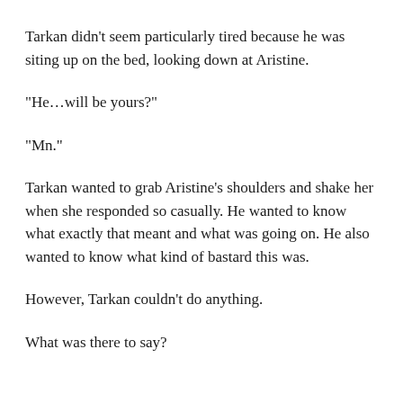Tarkan didn't seem particularly tired because he was siting up on the bed, looking down at Aristine.
“He…will be yours?”
“Mn.”
Tarkan wanted to grab Aristine’s shoulders and shake her when she responded so casually. He wanted to know what exactly that meant and what was going on. He also wanted to know what kind of bastard this was.
However, Tarkan couldn’t do anything.
What was there to say?